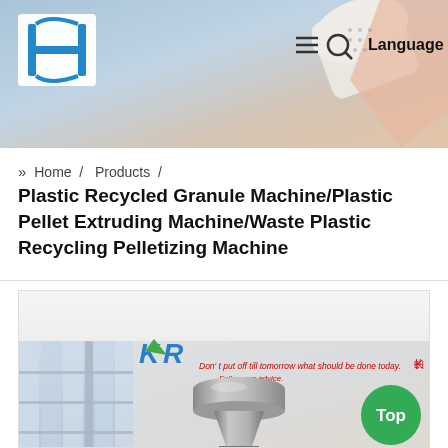[Figure (photo): Website header banner showing plastic pellets/components with a blue logo on left and navigation icons (hamburger menu, search, Language) on top right]
» Home / Products / Plastic Recycled Granule Machine/Plastic Pellet Extruding Machine/Waste Plastic Recycling Pelletizing Machine
[Figure (photo): Product photo of a plastic recycled granule machine (pelletizing machine) in an industrial setting. Shows a stainless steel funnel/hopper assembly. KR brand logo visible in top left of photo. Red slogan text in background reads 'Don't put off till tomorrow what should be done today. Follow your advice.' A green 'Top' button is visible at bottom right.]